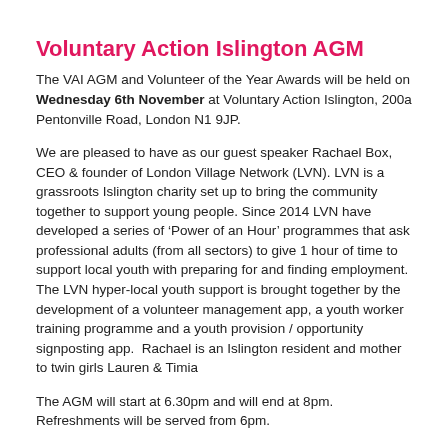Voluntary Action Islington AGM
The VAI AGM and Volunteer of the Year Awards will be held on Wednesday 6th November at Voluntary Action Islington, 200a Pentonville Road, London N1 9JP.
We are pleased to have as our guest speaker Rachael Box, CEO & founder of London Village Network (LVN). LVN is a grassroots Islington charity set up to bring the community together to support young people. Since 2014 LVN have developed a series of ‘Power of an Hour’ programmes that ask professional adults (from all sectors) to give 1 hour of time to support local youth with preparing for and finding employment. The LVN hyper-local youth support is brought together by the development of a volunteer management app, a youth worker training programme and a youth provision / opportunity signposting app.  Rachael is an Islington resident and mother to twin girls Lauren & Timia
The AGM will start at 6.30pm and will end at 8pm. Refreshments will be served from 6pm.
Meeting papers: